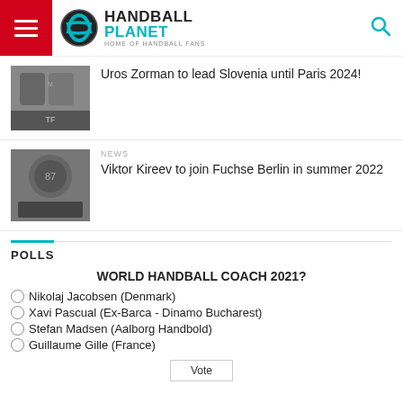Handball Planet - Home of Handball Fans
Uros Zorman to lead Slovenia until Paris 2024!
NEWS
Viktor Kireev to join Fuchse Berlin in summer 2022
POLLS
WORLD HANDBALL COACH 2021?
Nikolaj Jacobsen (Denmark)
Xavi Pascual (Ex-Barca - Dinamo Bucharest)
Stefan Madsen (Aalborg Handbold)
Guillaume Gille (France)